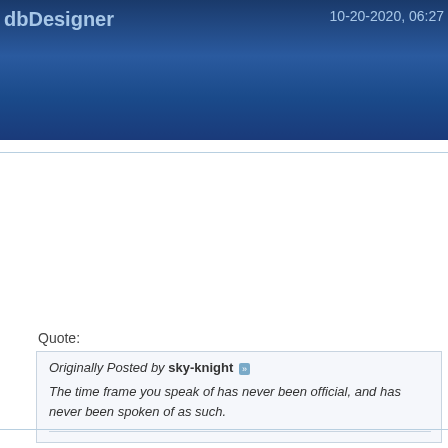dbDesigner   10-20-2020, 06:27
Originally Posted by sky-knight
The time frame you speak of has never been official, and has spoken of as such.
Ah you are right, I once asked support and they provided me with a to expect the auto update to happen. I falsely remembered that this news.